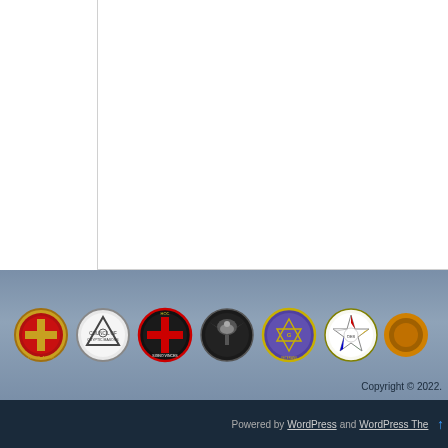If our current District were to entirely disappear, in w my Lodge and its members want to be located and w
Are there Lodges in neighboring Districts with whic plays that may be interested in joining our District? healthy, vibrant Lodges, or are they in trouble?
Please take the time to consider the above questions honestly. Only by observing things as they actually a be, will we be able to make sound decisions based on decisions will absolutely affect our future as a Distri them right.
Posted in News & Events from The Grapevine
[Figure (logo): Row of Masonic organization logos/emblems in footer]
Copyright © 2022.
Powered by WordPress and WordPress The